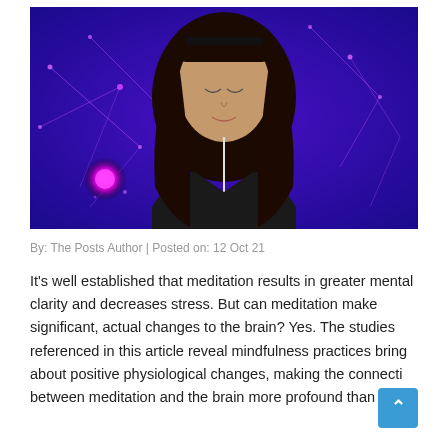[Figure (photo): A woman with long dark hair wearing a black EEG headband and earphones, eyes closed meditating, against a purple neural network background with glowing pink neuron]
By: The Posts Author | Posted on: 12 Oct 21
It's well established that meditation results in greater mental clarity and decreases stress. But can meditation make significant, actual changes to the brain? Yes. The studies referenced in this article reveal mindfulness practices bring about positive physiological changes, making the connecti between meditation and the brain more profound than